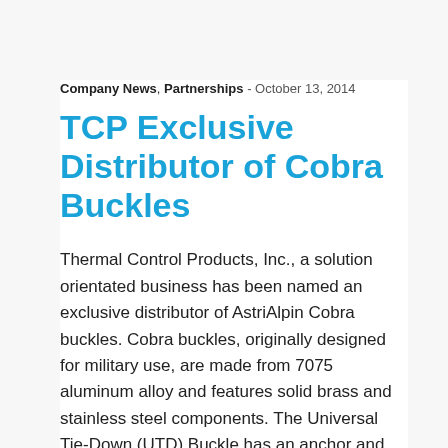Company News, Partnerships - October 13, 2014
TCP Exclusive Distributor of Cobra Buckles
Thermal Control Products, Inc., a solution orientated business has been named an exclusive distributor of AstriAlpin Cobra buckles. Cobra buckles, originally designed for military use, are made from 7075 aluminum alloy and features solid brass and stainless steel components. The Universal Tie-Down (UTD) Buckle has an anchor and carbineer for easy attachment with an easy quick-release-connect functionality. Each buckle has a yielded strength rating of 2000 LBS and